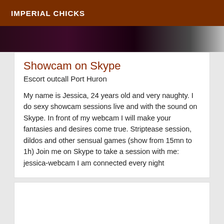IMPERIAL CHICKS
[Figure (photo): Dark cropped image strip showing a dark purple/maroon background with a light area on the right side]
Showcam on Skype
Escort outcall Port Huron
My name is Jessica, 24 years old and very naughty. I do sexy showcam sessions live and with the sound on Skype. In front of my webcam I will make your fantasies and desires come true. Striptease session, dildos and other sensual games (show from 15mn to 1h) Join me on Skype to take a session with me: jessica-webcam I am connected every night
[Figure (photo): Empty white card placeholder area]